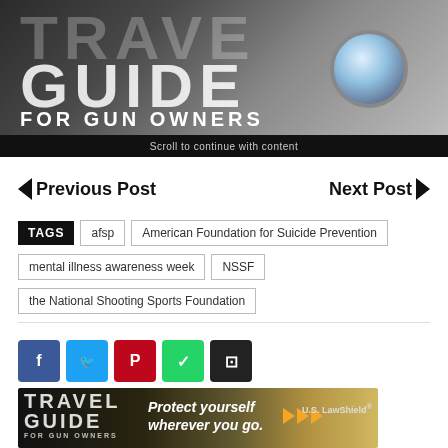[Figure (photo): Travel Guide for Gun Owners banner image with large bold text overlay and a circular camera/gun barrel element on right side]
Scroll to continue with content
Previous Post
Next Post
TAGS  afsp  American Foundation for Suicide Prevention  mental illness awareness week  NSSF  the National Shooting Sports Foundation
[Figure (photo): Travel Guide for Gun Owners advertisement banner at bottom with tagline Protect yourself wherever you go and US LawShield logo]